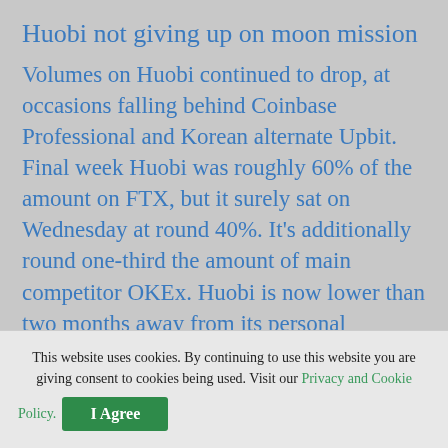Huobi not giving up on moon mission
Volumes on Huobi continued to drop, at occasions falling behind Coinbase Professional and Korean alternate Upbit. Final week Huobi was roughly 60% of the amount on FTX, but it surely sat on Wednesday at round 40%. It's additionally round one-third the amount of main competitor OKEx. Huobi is now lower than two months away from its personal deadline to shut accounts belonging to Chinese language customers. Huobi might want to dramatically reshuffle to win again the market share it has slowly misplaced to exchanges with f…
This website uses cookies. By continuing to use this website you are giving consent to cookies being used. Visit our Privacy and Cookie Policy.